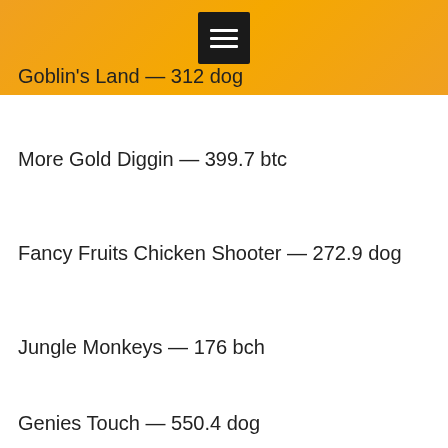Goblin's Land — 312 dog
More Gold Diggin — 399.7 btc
Fancy Fruits Chicken Shooter — 272.9 dog
Jungle Monkeys — 176 bch
Genies Touch — 550.4 dog